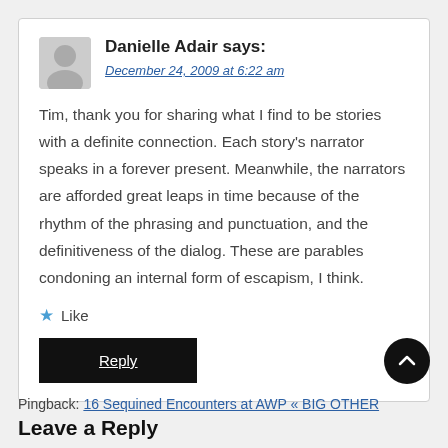Danielle Adair says:
December 24, 2009 at 6:22 am
Tim, thank you for sharing what I find to be stories with a definite connection. Each story's narrator speaks in a forever present. Meanwhile, the narrators are afforded great leaps in time because of the rhythm of the phrasing and punctuation, and the definitiveness of the dialog. These are parables condoning an internal form of escapism, I think.
Like
Reply
Pingback: 16 Sequined Encounters at AWP « BIG OTHER
Leave a Reply